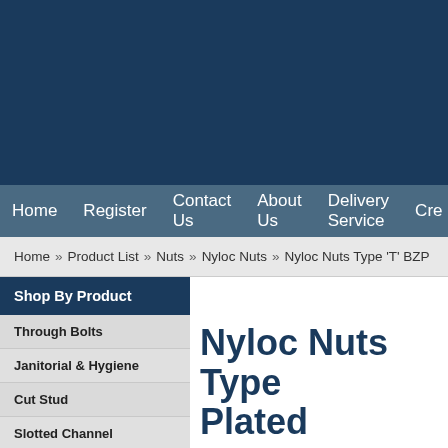Home  Register  Contact Us  About Us  Delivery Service  Cre
Home » Product List » Nuts » Nyloc Nuts » Nyloc Nuts Type 'T' BZP
Shop By Product
Through Bolts
Janitorial & Hygiene
Cut Stud
Slotted Channel
A2/A4 Stainless Steel
Through Bolt ETA Opt7 BZP
U-Bolt
Bracketry
Nyloc Nuts Type Plated